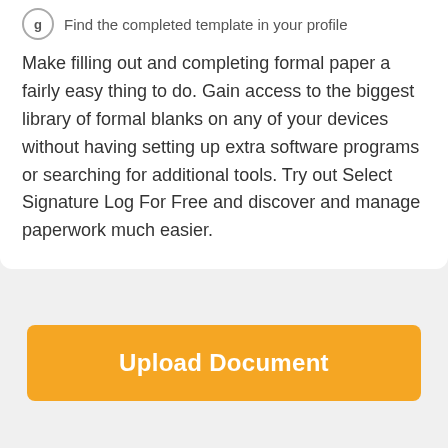g  Find the completed template in your profile
Make filling out and completing formal paper a fairly easy thing to do. Gain access to the biggest library of formal blanks on any of your devices without having setting up extra software programs or searching for additional tools. Try out Select Signature Log For Free and discover and manage paperwork much easier.
[Figure (other): Orange Upload Document button]